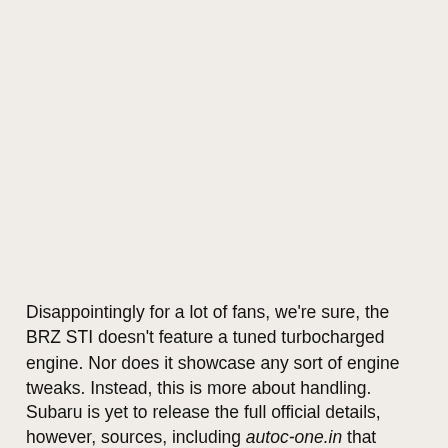Disappointingly for a lot of fans, we're sure, the BRZ STI doesn't feature a tuned turbocharged engine. Nor does it showcase any sort of engine tweaks. Instead, this is more about handling.
Subaru is yet to release the full official details, however, sources, including autoc-one.in that